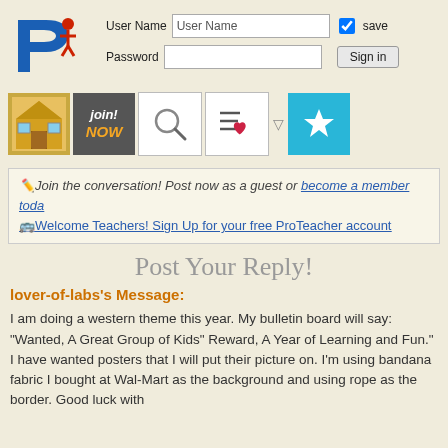[Figure (logo): ProTeacher PT logo in blue with red figure on top]
[Figure (screenshot): Login form with User Name field pre-filled, Password field, save checkbox, and Sign in button]
[Figure (screenshot): Navigation icon bar with house image, Join Now button, search icon, list-heart icon, dropdown arrow, and star icon on blue background]
✏️Join the conversation! Post now as a guest or become a member toda
🚌Welcome Teachers! Sign Up for your free ProTeacher account
Post Your Reply!
lover-of-labs's Message:
I am doing a western theme this year. My bulletin board will say: "Wanted, A Great Group of Kids" Reward, A Year of Learning and Fun." I have wanted posters that I will put their picture on. I'm using bandana fabric I bought at Wal-Mart as the background and using rope as the border. Good luck with